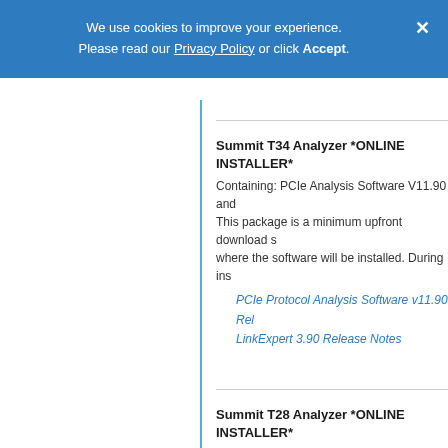We use cookies to improve your experience. Please read our Privacy Policy or click Accept.
Summit T34 Analyzer *ONLINE INSTALLER*
Containing: PCIe Analysis Software V11.90 and This package is a minimum upfront download s where the software will be installed. During ins
PCIe Protocol Analysis Software v11.90 Rel
LinkExpert 3.90 Release Notes
Summit T28 Analyzer *ONLINE INSTALLER*
Containing: PCIe Analysis Software V11.90 and This package is a minimum upfront download s where the software will be installed. During ins
PCIe Protocol Analysis Software v11.90 Rel
LinkExpert 3.90 Release Notes